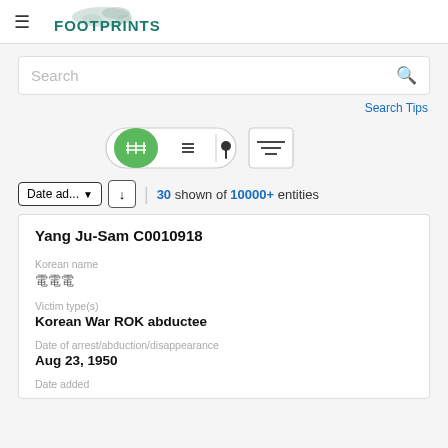≡ FOOTPRINTS
Search
Search Tips
30 shown of 10000+ entities
Yang Ju-Sam C0010918
Korean name
양주삼
Victim type(s)
Korean War ROK abductee
Date of arrest/abduction/disappearance
Aug 23, 1950
Date added